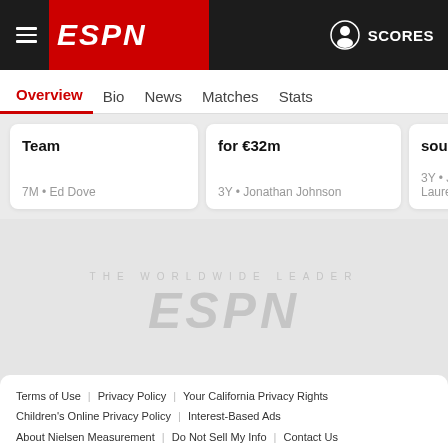ESPN — SCORES
Overview | Bio | News | Matches | Stats
Team — 7M • Ed Dove
for €32m — 3Y • Jonathan Johnson
sources — 3Y • Julien Laure
[Figure (logo): ESPN watermark logo in grey on grey background]
Terms of Use | Privacy Policy | Your California Privacy Rights | Children's Online Privacy Policy | Interest-Based Ads | About Nielsen Measurement | Do Not Sell My Info | Contact Us | Disney Ad Sales Site | Work for ESPN
Copyright: © ESPN Enterprises, Inc. All rights reserved.